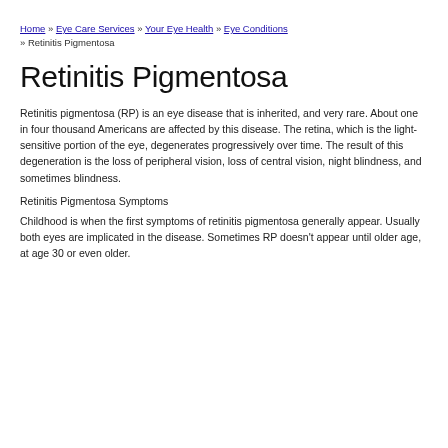Home » Eye Care Services » Your Eye Health » Eye Conditions » Retinitis Pigmentosa
Retinitis Pigmentosa
Retinitis pigmentosa (RP) is an eye disease that is inherited, and very rare. About one in four thousand Americans are affected by this disease. The retina, which is the light-sensitive portion of the eye, degenerates progressively over time. The result of this degeneration is the loss of peripheral vision, loss of central vision, night blindness, and sometimes blindness.
Retinitis Pigmentosa Symptoms
Childhood is when the first symptoms of retinitis pigmentosa generally appear. Usually both eyes are implicated in the disease. Sometimes RP doesn't appear until older age, at age 30 or even older.